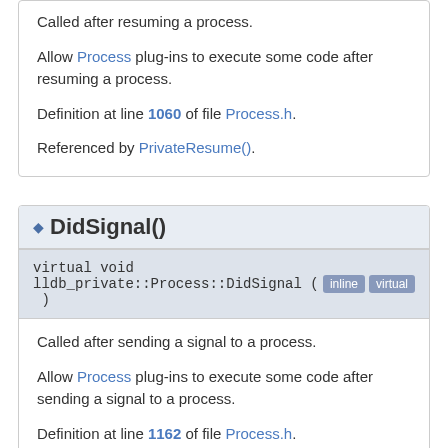Called after resuming a process.
Allow Process plug-ins to execute some code after resuming a process.
Definition at line 1060 of file Process.h.
Referenced by PrivateResume().
◆ DidSignal()
virtual void lldb_private::Process::DidSignal ( )   inline virtual
Called after sending a signal to a process.
Allow Process plug-ins to execute some code after sending a signal to a process.
Definition at line 1162 of file Process.h.
Referenced by Signal().